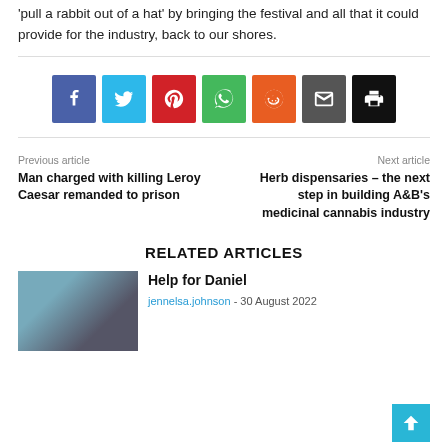'pull a rabbit out of a hat' by bringing the festival and all that it could provide for the industry, back to our shores.
[Figure (infographic): Social sharing buttons: Facebook (blue), Twitter (light blue), Pinterest (red), WhatsApp (green), Reddit (orange-red), Email (dark gray), Print (black)]
Previous article
Man charged with killing Leroy Caesar remanded to prison
Next article
Herb dispensaries – the next step in building A&B's medicinal cannabis industry
RELATED ARTICLES
Help for Daniel
jennelsa.johnson - 30 August 2022